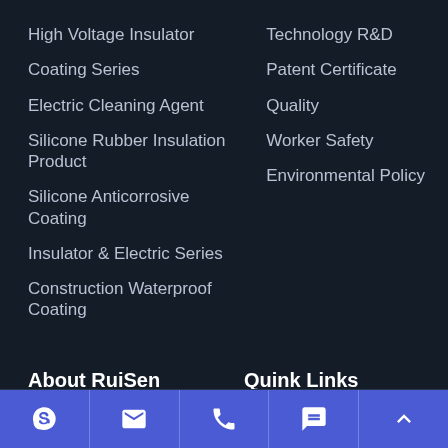High Voltage Insulator
Coating Series
Electric Cleaning Agent
Silicone Rubber Insulation Product
Silicone Anticorrosive Coating
Insulator & Electric Series
Construction Waterproof Coating
Technology R&D
Patent Certificate
Quality
Worker Safety
Environmental Policy
About RuiSen
Quink Links
[Figure (infographic): Footer navigation bar with icons: Skype, email/envelope, phone, chat/speech bubble, scroll-to-top arrow]